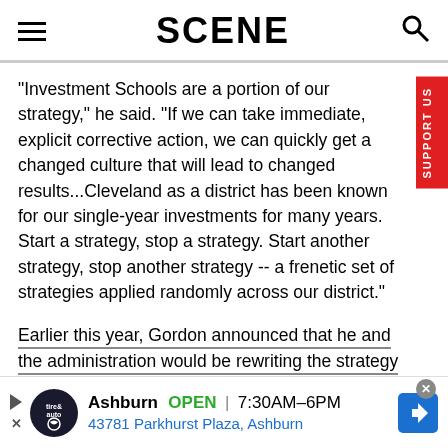SCENE
"Investment Schools are a portion of our strategy," he said. "If we can take immediate, explicit corrective action, we can quickly get a changed culture that will lead to changed results...Cleveland as a district has been known for our single-year investments for many years. Start a strategy, stop a strategy. Start another strategy, stop another strategy -- a frenetic set of strategies applied randomly across our district."
Earlier this year, Gordon announced that he and the administration would be rewriting the strategy again. Eve
[Figure (other): Advertisement banner for Pep Boys tire and auto in Ashburn, showing logo, hours 7:30AM-6PM, address 43781 Parkhurst Plaza Ashburn, with navigation arrow icon]